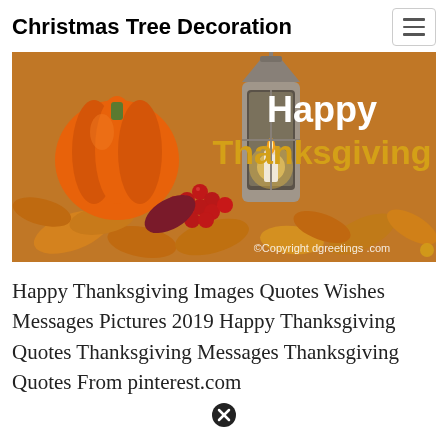Christmas Tree Decoration
[Figure (photo): Happy Thanksgiving greeting image with pumpkin, lantern with candle, red berries, autumn leaves, and text 'Happy Thanksgiving' in white and yellow. Watermark: ©Copyright dgreetings .com]
Happy Thanksgiving Images Quotes Wishes Messages Pictures 2019 Happy Thanksgiving Quotes Thanksgiving Messages Thanksgiving Quotes From pinterest.com